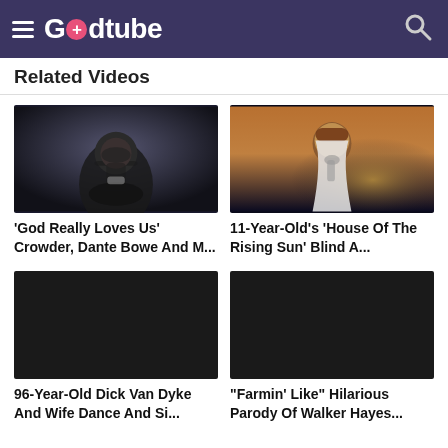Godtube
Related Videos
[Figure (photo): Video thumbnail showing a man with a beard and cap singing into a microphone in dark dramatic lighting]
'God Really Loves Us' Crowder, Dante Bowe And M...
[Figure (photo): Video thumbnail showing a young girl with long hair holding a microphone on a dark stage]
11-Year-Old's 'House Of The Rising Sun' Blind A...
[Figure (photo): Black video thumbnail placeholder]
96-Year-Old Dick Van Dyke And Wife Dance And Si...
[Figure (photo): Black video thumbnail placeholder]
“Farmin’ Like” Hilarious Parody Of Walker Hayes...